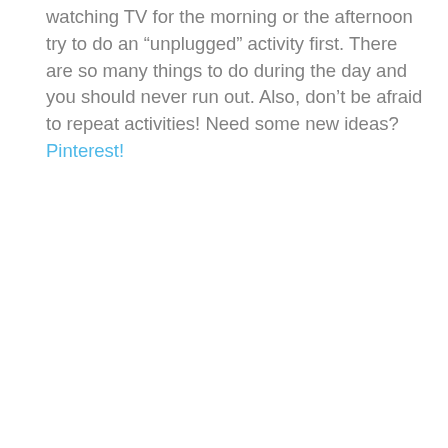watching TV for the morning or the afternoon try to do an “unplugged” activity first. There are so many things to do during the day and you should never run out. Also, don’t be afraid to repeat activities! Need some new ideas? Pinterest!